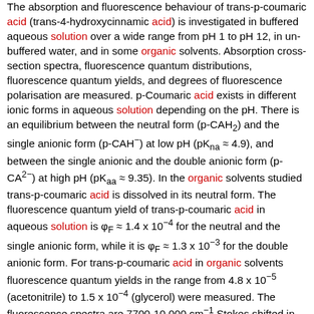The absorption and fluorescence behaviour of trans-p-coumaric acid (trans-4-hydroxycinnamic acid) is investigated in buffered aqueous solution over a wide range from pH 1 to pH 12, in un-buffered water, and in some organic solvents. Absorption cross-section spectra, fluorescence quantum distributions, fluorescence quantum yields, and degrees of fluorescence polarisation are measured. p-Coumaric acid exists in different ionic forms in aqueous solution depending on the pH. There is an equilibrium between the neutral form (p-CAH{sub 2}) and the single anionic form (p-CAH{sup -}) at low pH (pK{sub na} {approx} 4.9), and between the single anionic and the double anionic form (p-CA{sup 2-}) at high pH (pK{sub aa} {approx} 9.35). In the organic solvents studied trans-p-coumaric acid is dissolved in its neutral form. The fluorescence quantum yield of trans-p-coumaric acid in aqueous solution is {phi}{sub F} {approx} 1.4 x 10{sup -4} for the neutral and the single anionic form, while it is {phi}{sub F} {approx} 1.3 x 10{sup -3} for the double anionic form. For trans-p-coumaric acid in organic solvents fluorescence quantum yields in the range from 4.8 x 10{sup -5} (acetonitrile) to 1.5 x 10{sup -4} (glycerol) were measured. The fluorescence spectra are 7700-10,000 cm{sup -1} Stokes shifted in aqueous solution, and 5400-8200 cm{sup -1} Stokes shifted in the studied organic solvents. Decay paths